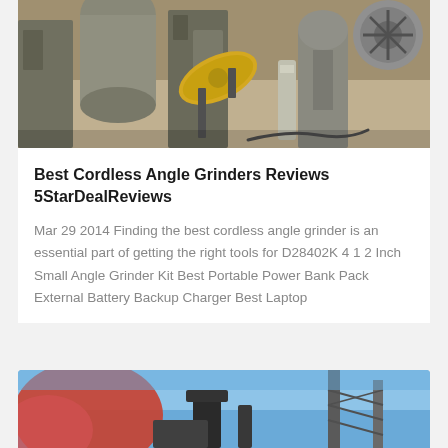[Figure (photo): Industrial machinery/grinder equipment in a factory or workshop setting, showing mechanical components including a yellow oval-shaped part and various metal structures.]
Best Cordless Angle Grinders Reviews 5StarDealReviews
Mar 29 2014 Finding the best cordless angle grinder is an essential part of getting the right tools for D28402K 4 1 2 Inch Small Angle Grinder Kit Best Portable Power Bank Pack External Battery Backup Charger Best Laptop
[Figure (photo): Industrial equipment or machinery outdoors, showing what appears to be a tall structure or tower against a blue sky with red/orange elements visible.]